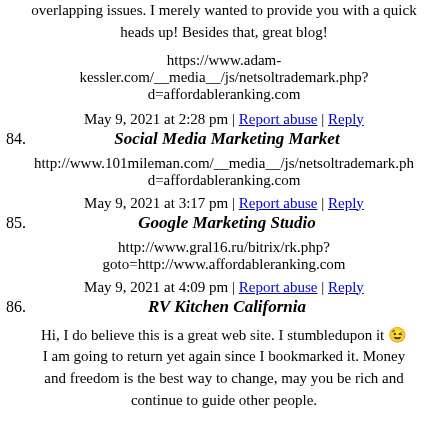overlapping issues. I merely wanted to provide you with a quick heads up! Besides that, great blog!
https://www.adam-kessler.com/__media__/js/netsoltrademark.php?d=affordableranking.com
May 9, 2021 at 2:28 pm | Report abuse | Reply
84. Social Media Marketing Market
http://www.101mileman.com/__media__/js/netsoltrademark.php?d=affordableranking.com
May 9, 2021 at 3:17 pm | Report abuse | Reply
85. Google Marketing Studio
http://www.gral16.ru/bitrix/rk.php?goto=http://www.affordableranking.com
May 9, 2021 at 4:09 pm | Report abuse | Reply
86. RV Kitchen California
Hi, I do believe this is a great web site. I stumbledupon it 😉 I am going to return yet again since I bookmarked it. Money and freedom is the best way to change, may you be rich and continue to guide other people.